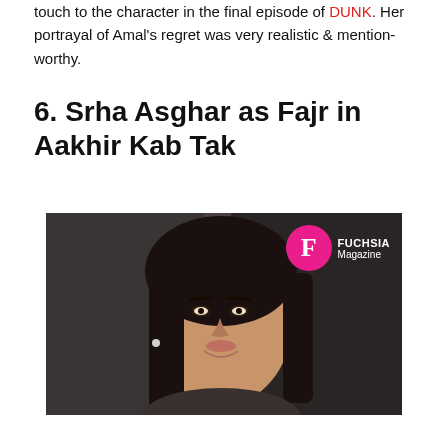touch to the character in the final episode of DUNK. Her portrayal of Amal's regret was very realistic & mention-worthy.
6. Srha Asghar as Fajr in Aakhir Kab Tak
[Figure (photo): A woman with long dark hair smiling, photographed in a dimly lit setting. Fuchsia Magazine logo watermark in top right corner.]